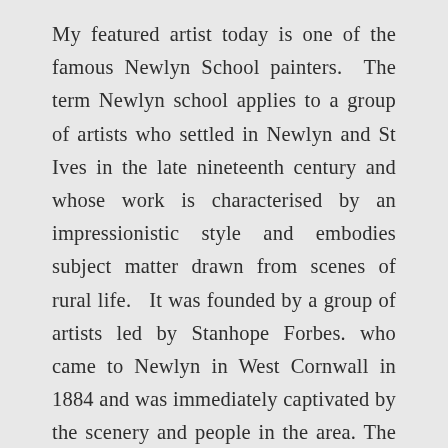My featured artist today is one of the famous Newlyn School painters. The term Newlyn school applies to a group of artists who settled in Newlyn and St Ives in the late nineteenth century and whose work is characterised by an impressionistic style and embodies subject matter drawn from scenes of rural life.  It was founded by a group of artists led by Stanhope Forbes. who came to Newlyn in West Cornwall in 1884 and was immediately captivated by the scenery and people in the area. The ‘Newlyn School’ became famous for its superb realism, in ‘Plein-Air’ painting.  The artist I am looking at today, Harold Harvey, made his name for his beautiful works featuring the Cornish countryside.